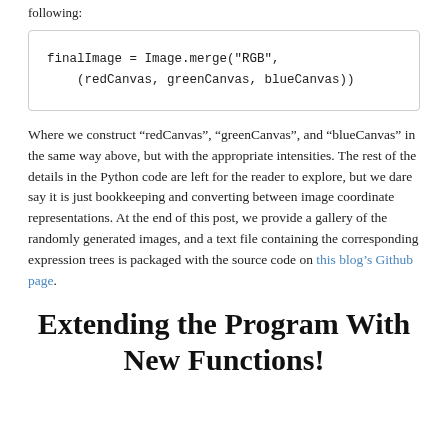following:
finalImage = Image.merge("RGB",
    (redCanvas, greenCanvas, blueCanvas))
Where we construct “redCanvas”, “greenCanvas”, and “blueCanvas” in the same way above, but with the appropriate intensities. The rest of the details in the Python code are left for the reader to explore, but we dare say it is just bookkeeping and converting between image coordinate representations. At the end of this post, we provide a gallery of the randomly generated images, and a text file containing the corresponding expression trees is packaged with the source code on this blog’s Github page.
Extending the Program With New Functions!